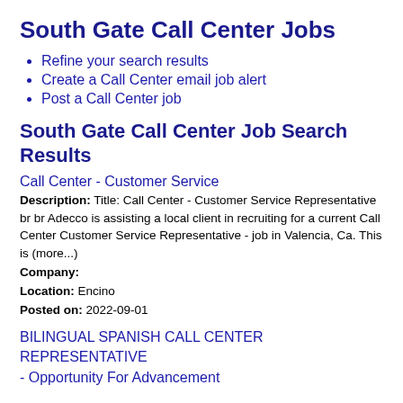South Gate Call Center Jobs
Refine your search results
Create a Call Center email job alert
Post a Call Center job
South Gate Call Center Job Search Results
Call Center - Customer Service
Description: Title: Call Center - Customer Service Representative br br Adecco is assisting a local client in recruiting for a current Call Center Customer Service Representative - job in Valencia, Ca. This is (more...)
Company:
Location: Encino
Posted on: 2022-09-01
BILINGUAL SPANISH CALL CENTER REPRESENTATIVE - Opportunity For Advancement